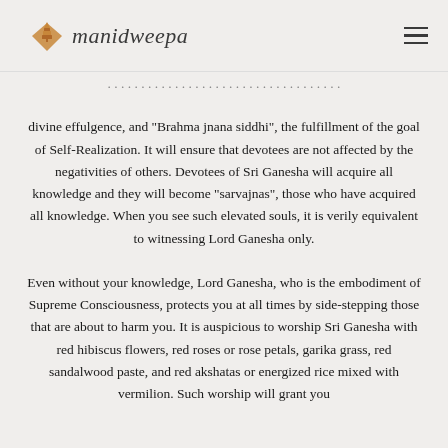manidweepa
divine effulgence, and “Brahma jnana siddhi”, the fulfillment of the goal of Self-Realization. It will ensure that devotees are not affected by the negativities of others. Devotees of Sri Ganesha will acquire all knowledge and they will become “sarvajnas”, those who have acquired all knowledge. When you see such elevated souls, it is verily equivalent to witnessing Lord Ganesha only.
Even without your knowledge, Lord Ganesha, who is the embodiment of Supreme Consciousness, protects you at all times by side-stepping those that are about to harm you. It is auspicious to worship Sri Ganesha with red hibiscus flowers, red roses or rose petals, garika grass, red sandalwood paste, and red akshatas or energized rice mixed with vermilion. Such worship will grant you